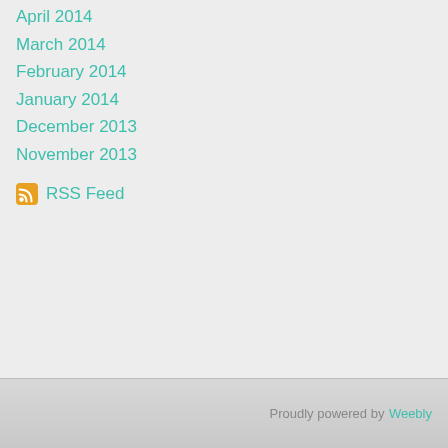April 2014
March 2014
February 2014
January 2014
December 2013
November 2013
RSS Feed
Proudly powered by Weebly